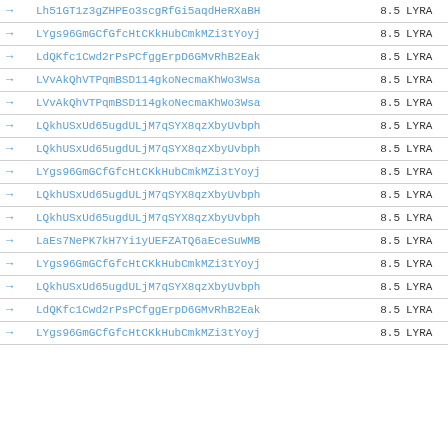|  | Hash | Score | Tag |
| --- | --- | --- | --- |
| → | Lh51GT1z3gZHPEo3scgRfGi5aqdHeRXaBH | 8.5 | LYRA |
| → | LYgs96GmGCfGfcHtCKkHubCmkMZi3tYoyj | 8.5 | LYRA |
| → | LdQKfc1Cwd2rPsPCfggErpD6GMvRhB2Eak | 8.5 | LYRA |
| → | LVvAkQhVTPqmBSD114gkoNecmaKhWo3Wsa | 8.5 | LYRA |
| → | LVvAkQhVTPqmBSD114gkoNecmaKhWo3Wsa | 8.5 | LYRA |
| → | LQkhUSxUd65ugdULjM7qSYX8qzXbyUvbph | 8.5 | LYRA |
| → | LQkhUSxUd65ugdULjM7qSYX8qzXbyUvbph | 8.5 | LYRA |
| → | LYgs96GmGCfGfcHtCKkHubCmkMZi3tYoyj | 8.5 | LYRA |
| → | LQkhUSxUd65ugdULjM7qSYX8qzXbyUvbph | 8.5 | LYRA |
| → | LQkhUSxUd65ugdULjM7qSYX8qzXbyUvbph | 8.5 | LYRA |
| → | LaEs7NePK7kH7Yi1yUEFZATQ6aEceSuWMB | 8.5 | LYRA |
| → | LYgs96GmGCfGfcHtCKkHubCmkMZi3tYoyj | 8.5 | LYRA |
| → | LQkhUSxUd65ugdULjM7qSYX8qzXbyUvbph | 8.5 | LYRA |
| → | LdQKfc1Cwd2rPsPCfggErpD6GMvRhB2Eak | 8.5 | LYRA |
| → | LYgs96GmGCfGfcHtCKkHubCmkMZi3tYoyj | 8.5 | LYRA |